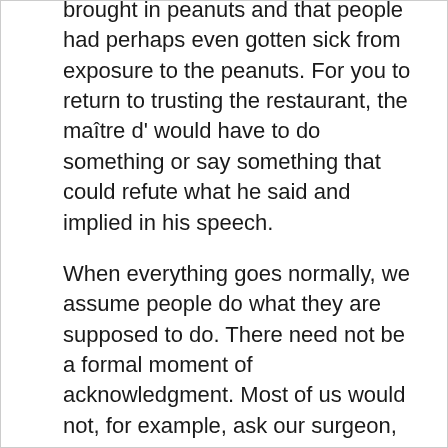brought in peanuts and that people had perhaps even gotten sick from exposure to the peanuts. For you to return to trusting the restaurant, the maître d' would have to do something or say something that could refute what he said and implied in his speech.
When everything goes normally, we assume people do what they are supposed to do. There need not be a formal moment of acknowledgment. Most of us would not, for example, ask our surgeon, who is about to operate on us, whether he has a medical degree. But when someone manifests a lack of understanding for what he is supposed